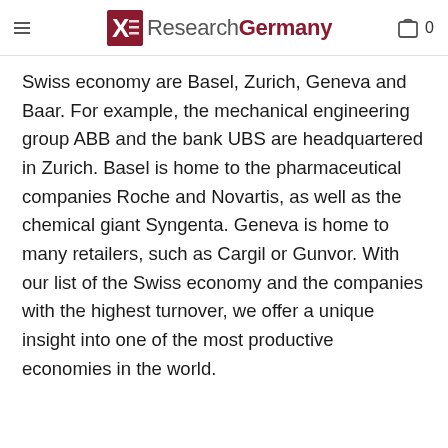ResearchGermany
Swiss economy are Basel, Zurich, Geneva and Baar. For example, the mechanical engineering group ABB and the bank UBS are headquartered in Zurich. Basel is home to the pharmaceutical companies Roche and Novartis, as well as the chemical giant Syngenta. Geneva is home to many retailers, such as Cargil or Gunvor. With our list of the Swiss economy and the companies with the highest turnover, we offer a unique insight into one of the most productive economies in the world.